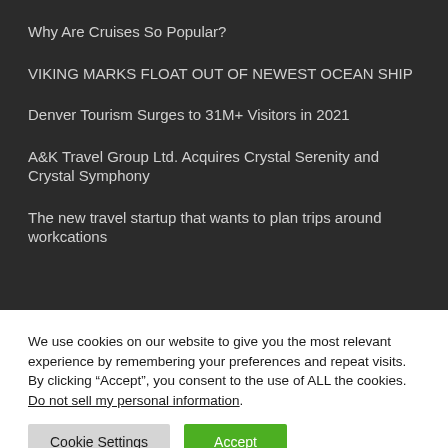Why Are Cruises So Popular?
VIKING MARKS FLOAT OUT OF NEWEST OCEAN SHIP
Denver Tourism Surges to 31M+ Visitors in 2021
A&K Travel Group Ltd. Acquires Crystal Serenity and Crystal Symphony
The new travel startup that wants to plan trips around workcations
We use cookies on our website to give you the most relevant experience by remembering your preferences and repeat visits. By clicking “Accept”, you consent to the use of ALL the cookies. Do not sell my personal information.
Cookie Settings
Accept